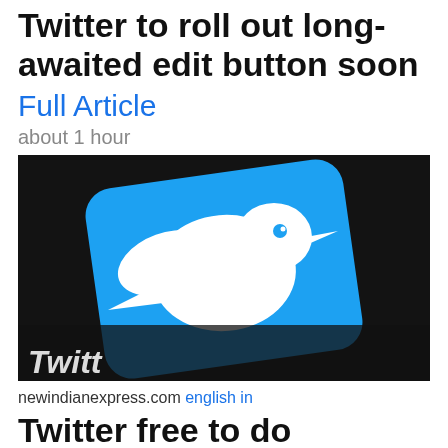Twitter to roll out long-awaited edit button soon
Full Article
about 1 hour
[Figure (photo): Photo of Twitter logo (blue bird icon) on a dark keyboard/device surface]
newindianexpress.com  english in
Twitter free to do business in country but law of land must be followed: Centre to Karnataka HC